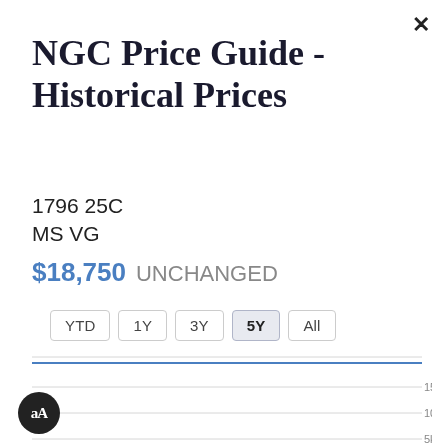NGC Price Guide - Historical Prices
1796 25C
MS VG
$18,750 UNCHANGED
YTD  1Y  3Y  5Y  All
[Figure (line-chart): Line chart showing price at approximately $18,750 (flat/near top), with horizontal gridlines at 5k, 10k, 15k]